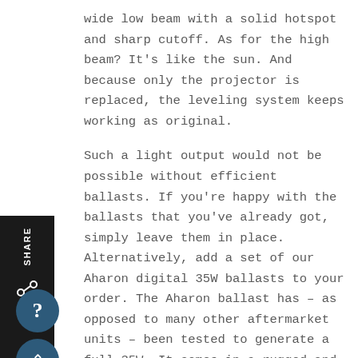wide low beam with a solid hotspot and sharp cutoff. As for the high beam? It's like the sun. And because only the projector is replaced, the leveling system keeps working as original.
Such a light output would not be possible without efficient ballasts. If you're happy with the ballasts that you've already got, simply leave them in place. Alternatively, add a set of our Aharon digital 35W ballasts to your order. The Aharon ballast has – as opposed to many other aftermarket units – been tested to generate a full 35W. It comes in a rugged and extremely compact housing perfect for retrofitting, its in-wire starter warms xenon HID bulbs in as little as five seconds. The Aharon ballast is also canbus-proof, so you won't get any bulb failure readings on your display. Please be advised, the input is